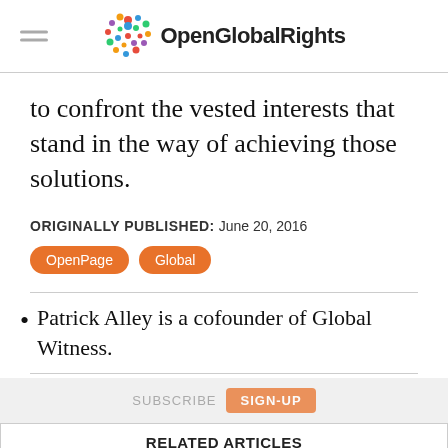OpenGlobalRights
to confront the vested interests that stand in the way of achieving those solutions.
ORIGINALLY PUBLISHED: June 20, 2016
OpenPage  Global
Patrick Alley is a cofounder of Global Witness.
SUBSCRIBE  SIGN-UP
RELATED ARTICLES